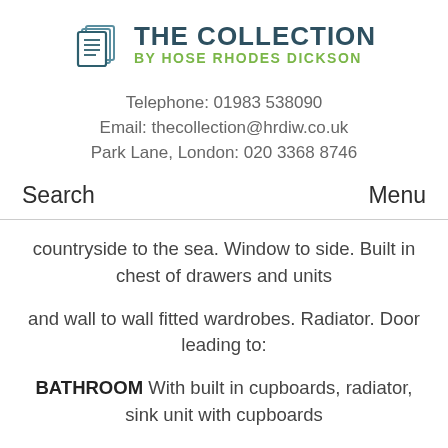[Figure (logo): The Collection by Hose Rhodes Dickson logo with stacked pages icon]
Telephone: 01983 538090
Email: thecollection@hrdiw.co.uk
Park Lane, London: 020 3368 8746
Search
Menu
countryside to the sea. Window to side. Built in chest of drawers and units
and wall to wall fitted wardrobes. Radiator. Door leading to:
BATHROOM With built in cupboards, radiator, sink unit with cupboards